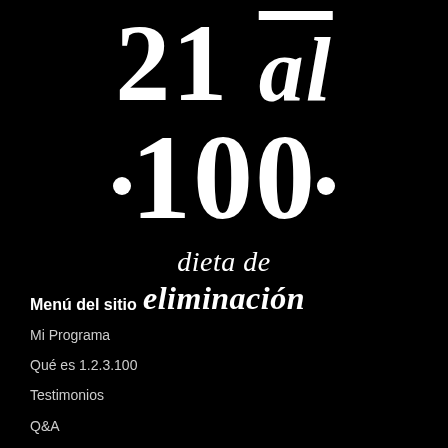21 al 100 dieta de eliminación
Menú del sitio
Mi Programa
Qué es 1.2.3.100
Testimonios
Q&A
Política de uso y tratamiento de datos